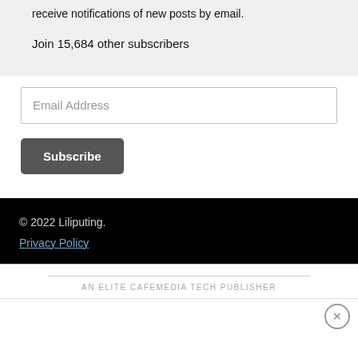receive notifications of new posts by email.
Join 15,684 other subscribers
Email Address
Subscribe
© 2022 Liliputing.
Privacy Policy
AN ELITE CAFEMEDIA TECH PUBLISHER